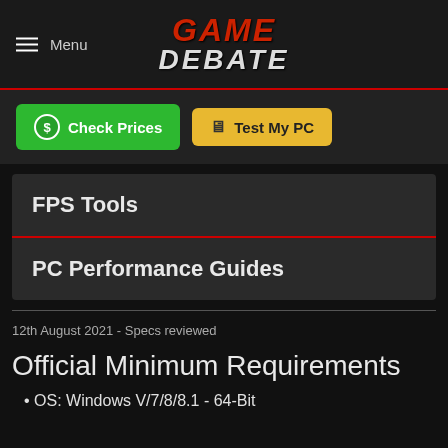GAME DEBATE
Check Prices
Test My PC
FPS Tools
PC Performance Guides
12th August 2021 - Specs reviewed
Official Minimum Requirements
OS: Windows V/7/8/8.1 - 64-Bit